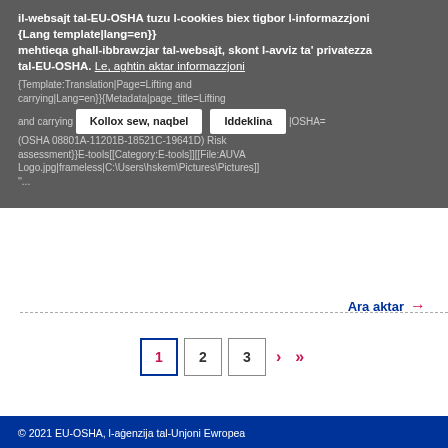il-websajt tal-EU-OSHA tuzu l-cookies biex tigbor l-informazzjoni {Lang template|lang=en}} mehtieqa ghall-ibbrawzjar tal-websajt, skont l-avviz ta' privatezza tal-EU-OSHA. Le, aghtin aktar informazzjoni
{Template:Translation|Page=Lifting and carrying|Lang=en}}{Metadata|page_title=Lifting and carrying ... |OSHA=(OSHA 08801A-11201B-18521C-19641D) Risk assessment}}E-tools[[Category:E-tools]][[File:AUVA Logo.jpg|frameless|C:\Users\hskem\Pictures\Pictures]] '...
Ara aktar →
1  2  3  >  >>
© 2021 EU-OSHA, l-agenzija tal-Unjoni Ewropea